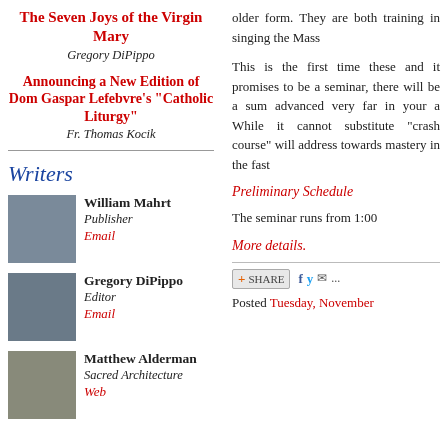The Seven Joys of the Virgin Mary
Gregory DiPippo
Announcing a New Edition of Dom Gaspar Lefebvre's "Catholic Liturgy"
Fr. Thomas Kocik
Writers
William Mahrt
Publisher
Email
Gregory DiPippo
Editor
Email
Matthew Alderman
Sacred Architecture
Web
older form. They are both training in singing the Mass
This is the first time these and it promises to be a seminar, there will be a sum advanced very far in your a While it cannot substitute "crash course" will address towards mastery in the fast
Preliminary Schedule
The seminar runs from 1:00
More details.
[Figure (screenshot): Share bar with SHARE button and social media icons (Facebook, Twitter, email)]
Posted Tuesday, November